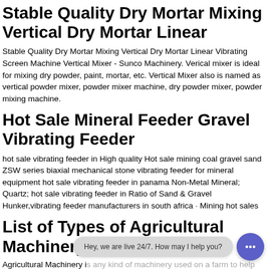Stable Quality Dry Mortar Mixing Vertical Dry Mortar Linear
Stable Quality Dry Mortar Mixing Vertical Dry Mortar Linear Vibrating Screen Machine Vertical Mixer - Sunco Machinery. Verical mixer is ideal for mixing dry powder, paint, mortar, etc. Vertical Mixer also is named as vertical powder mixer, powder mixer machine, dry powder mixer, powder mixing machine.
Hot Sale Mineral Feeder Gravel Vibrating Feeder
hot sale vibrating feeder in High quality Hot sale mining coal gravel sand ZSW series biaxial mechanical stone vibrating feeder for mineral equipment hot sale vibrating feeder in panama Non-Metal Mineral; Quartz; hot sale vibrating feeder in Ratio of Sand & Gravel Hunker,vibrating feeder manufacturers in south africa · Mining hot sales
List of Types of Agricultural Machinery:
Agricultural Machinery is any kind of machinery used on a farm to help with farming. The best-known example of this kind is the tractor. A